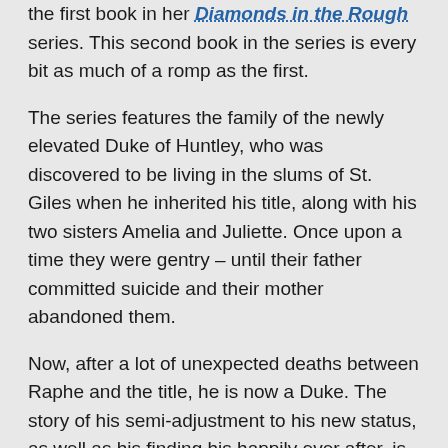the first book in her Diamonds in the Rough series. This second book in the series is every bit as much of a romp as the first.
The series features the family of the newly elevated Duke of Huntley, who was discovered to be living in the slums of St. Giles when he inherited his title, along with his two sisters Amelia and Juliette. Once upon a time they were gentry – until their father committed suicide and their mother abandoned them.
Now, after a lot of unexpected deaths between Raphe and the title, he is now a Duke. The story of his semi-adjustment to his new status, as well as his finding his happily ever after, is the story that is told in A Most Unlikely Duke.
But now that Raphe is settled (or as settled as he'll ever be), it is his sister Amelia's turn. Their new society